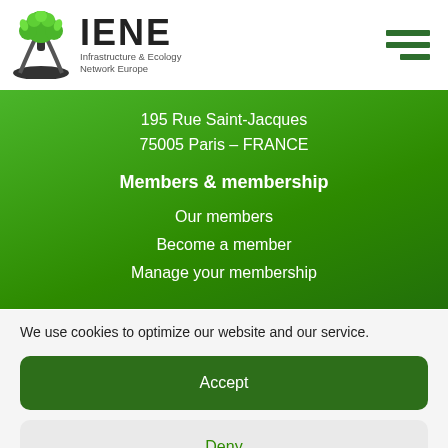[Figure (logo): IENE logo with tree and road illustration, text 'IENE Infrastructure & Ecology Network Europe']
195 Rue Saint-Jacques
75005 Paris – FRANCE
Members & membership
Our members
Become a member
Manage your membership
We use cookies to optimize our website and our service.
Accept
Deny
Privacy policy   Privacy policy